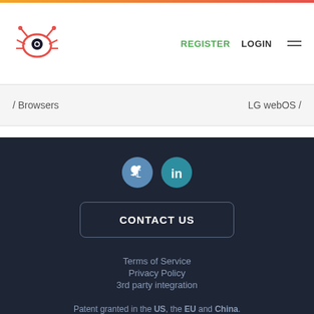REGISTER  LOGIN
Browsers   LG webOS
[Figure (logo): Twitter and LinkedIn social media icons]
CONTACT US
Terms of Service
Privacy Policy
3rd party integration
Patent granted in the US, the EU and China.
© 2022 Suitest. All rights reserved